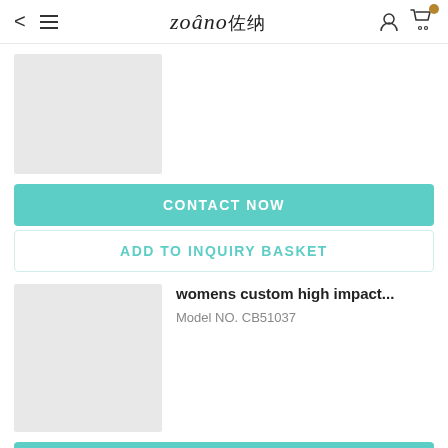zoâno佐纳
[Figure (photo): Product image placeholder (light gray rectangle)]
CONTACT NOW
ADD TO INQUIRY BASKET
[Figure (photo): Product image placeholder (light gray rectangle)]
womens custom high impact...
Model NO. CB51037
CONTACT NOW
ADD TO INQUIRY BASKET